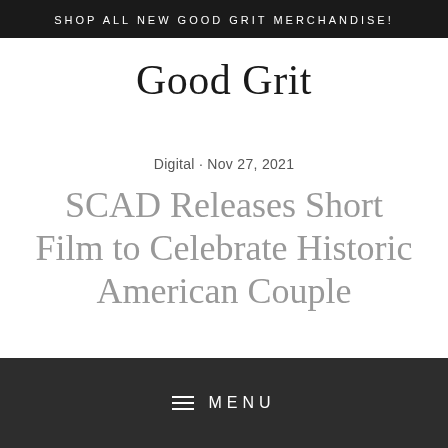SHOP ALL NEW GOOD GRIT MERCHANDISE!
Good Grit
Digital · Nov 27, 2021
SCAD Releases Short Film to Celebrate Historic American Couple
MENU